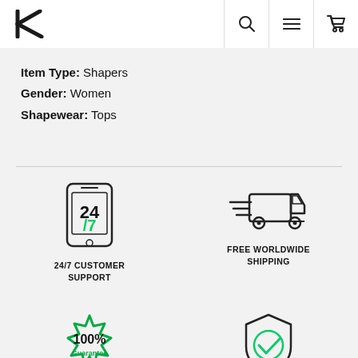[Figure (logo): K logo in top left header]
[Figure (infographic): Search icon, hamburger menu icon, shopping cart icon in header]
Item Type: Shapers
Gender: Women
Shapewear: Tops
[Figure (illustration): Phone icon showing 24/7 with green 7 and text 24/7 CUSTOMER SUPPORT]
[Figure (illustration): Delivery truck with speed lines and text FREE WORLDWIDE SHIPPING]
[Figure (illustration): 100% Guarantee badge seal icon]
[Figure (illustration): Shield with green checkmark icon]